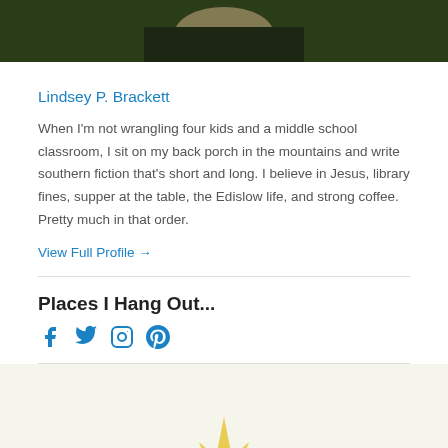[Figure (photo): Cropped photo showing the lower portion of a person's face/neck with dark clothing, green foliage background]
Lindsey P. Brackett
When I'm not wrangling four kids and a middle school classroom, I sit on my back porch in the mountains and write southern fiction that's short and long. I believe in Jesus, library fines, supper at the table, the Edislow life, and strong coffee. Pretty much in that order.
View Full Profile →
Places I Hang Out...
[Figure (illustration): Social media icons: Facebook, Twitter, Instagram, Pinterest in blue]
[Figure (photo): Bottom portion showing what appears to be a yellow star-shaped or decorative object on light background]